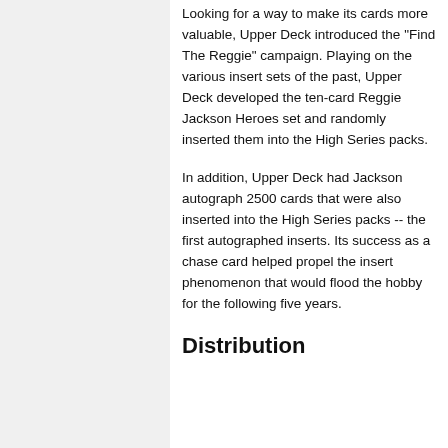Looking for a way to make its cards more valuable, Upper Deck introduced the "Find The Reggie" campaign. Playing on the various insert sets of the past, Upper Deck developed the ten-card Reggie Jackson Heroes set and randomly inserted them into the High Series packs.
In addition, Upper Deck had Jackson autograph 2500 cards that were also inserted into the High Series packs -- the first autographed inserts. Its success as a chase card helped propel the insert phenomenon that would flood the hobby for the following five years.
Distribution